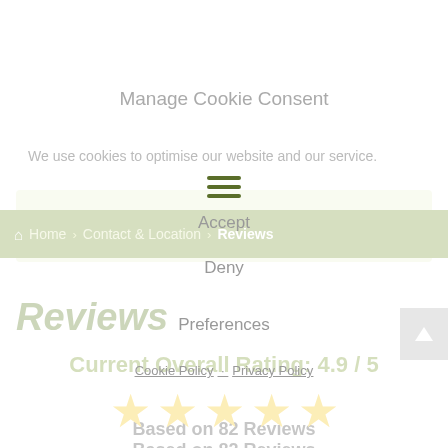Manage Cookie Consent
We use cookies to optimise our website and our service.
Accept
Home › Contact & Location › Reviews
Deny
Reviews
Current Overall Rating: 4.9 / 5
Preferences
[Figure (other): Five gold star rating icons]
Cookie Policy · Privacy Policy
Based on 82 Reviews